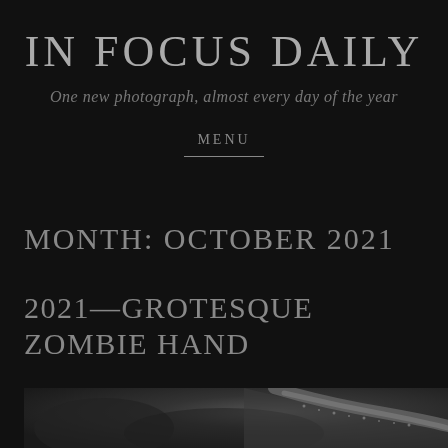IN FOCUS DAILY
One new photograph, almost every day of the year
MENU
MONTH: OCTOBER 2021
2021—GROTESQUE ZOMBIE HAND
[Figure (photo): Black and white photograph of a grotesque zombie hand, showing textured skin against a blurred dark background]